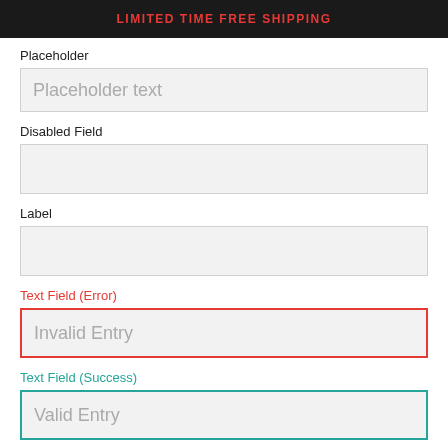LIMITED TIME FREE SHIPPING
Placeholder
Placeholder text
Disabled Field
Label
Text Field (Error)
Invalid Entry
Text Field (Success)
Valid Entry
Select Field